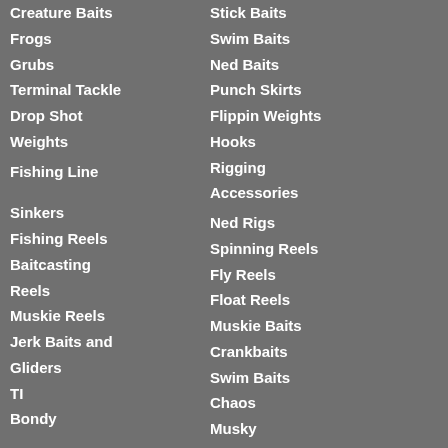Creature Baits
Frogs
Grubs
Terminal Tackle
Drop Shot
Weights
Fishing Line
Sinkers
Fishing Reels
Baitcasting
Reels
Muskie Reels
Jerk Baits and
Gliders
TI
Bondy
Bucktails and
Spinnerbaits
Stick Baits
Swim Baits
Ned Baits
Punch Skirts
Flippin Weights
Hooks
Rigging
Accessories
Ned Rigs
Spinning Reels
Fly Reels
Float Reels
Muskie Baits
Crankbaits
Swim Baits
Chaos
Musky
Innovations
Jig Baits
Red October
Baits